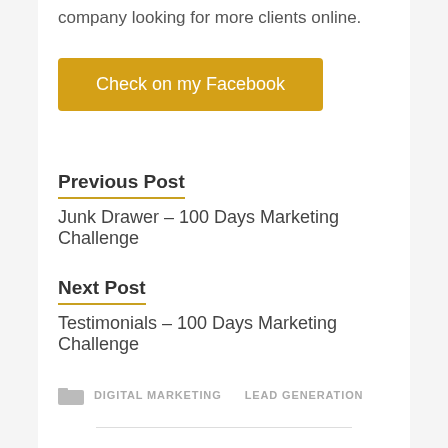company looking for more clients online.
Check on my Facebook
Previous Post
Junk Drawer – 100 Days Marketing Challenge
Next Post
Testimonials – 100 Days Marketing Challenge
DIGITAL MARKETING   LEAD GENERATION